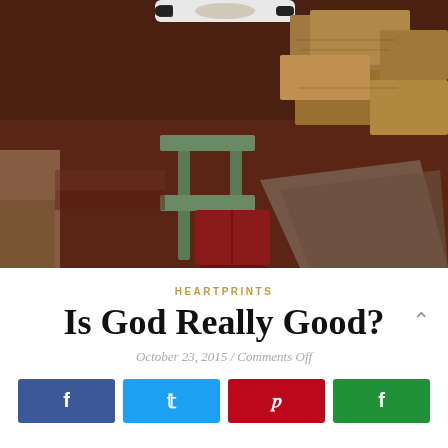[Figure (photo): Photo of boxes and household items stacked on dark red/maroon carpet, with a green step stool and red basket visible, and a decorative tray on top]
HEARTPRINTS
Is God Really Good?
October 23, 2015 / Comments Off